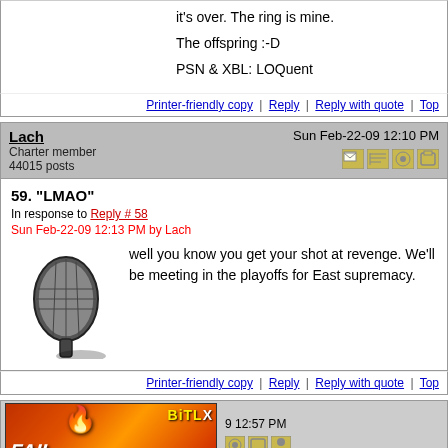it's over. The ring is mine.

The offspring :-D

PSN & XBL: LOQuent
Printer-friendly copy | Reply | Reply with quote | Top
Lach
Charter member
44015 posts
Sun Feb-22-09 12:10 PM
59. "LMAO"
In response to Reply # 58
Sun Feb-22-09 12:13 PM by Lach
well you know you get your shot at revenge. We'll be meeting in the playoffs for East supremacy.
Printer-friendly copy | Reply | Reply with quote | Top
[Figure (screenshot): BitLord advertisement banner - FAIL START A NEW LIFE ad]
9 12:57 PM